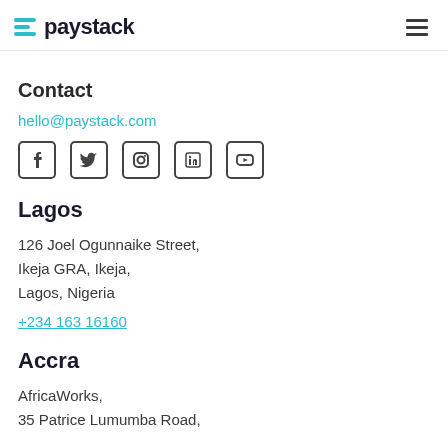paystack
Contact
hello@paystack.com
[Figure (other): Social media icons: Facebook, Twitter, Instagram, LinkedIn, YouTube]
Lagos
126 Joel Ogunnaike Street, Ikeja GRA, Ikeja, Lagos, Nigeria
+234 163 16160
Accra
AfricaWorks, 35 Patrice Lumumba Road,